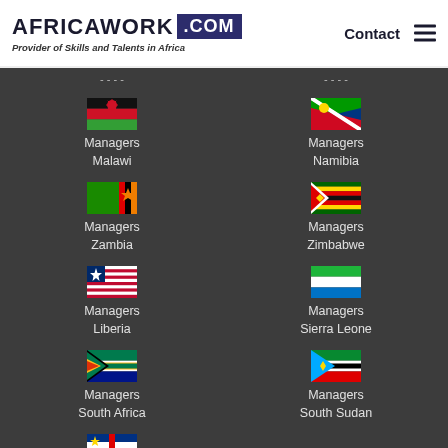[Figure (logo): AfricaWork.com logo with tagline 'Provider of Skills and Talents in Africa']
Contact
Managers Malawi
Managers Namibia
Managers Zambia
Managers Zimbabwe
Managers Liberia
Managers Sierra Leone
Managers South Africa
Managers South Sudan
Managers Central African Republic